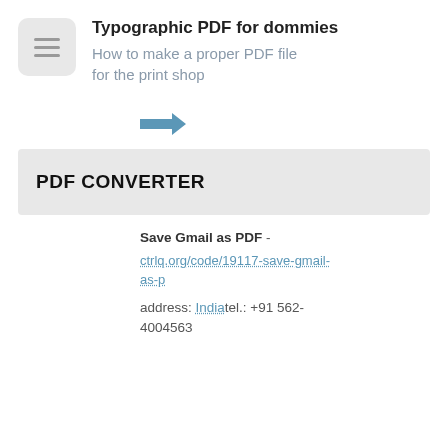[Figure (infographic): Menu/hamburger icon button — grey rounded square with three horizontal lines]
Typographic PDF for dommies
How to make a proper PDF file for the print shop
[Figure (illustration): A blue/teal rightward-pointing arrow icon]
PDF CONVERTER
Save Gmail as PDF -
ctrlq.org/code/19117-save-gmail-as-p
address: Indiatel.: +91 562-4004563